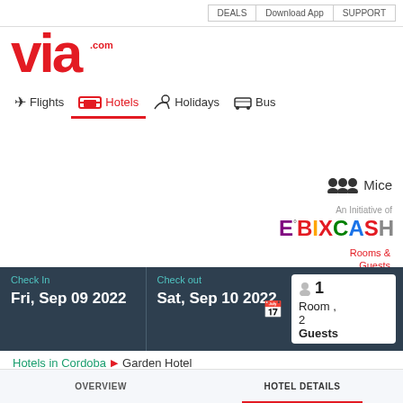DEALS | Download App | SUPPORT
[Figure (logo): via.com logo in red]
Flights
Hotels (active tab)
Holidays
Bus
Mice
An Initiative of
[Figure (logo): EbixCash logo in multicolor]
Rooms & Guests
Check In
Fri, Sep 09 2022
Check out
Sat, Sep 10 2022
1 Room , 2 Guests
Hotels in Cordoba ▶ Garden Hotel
OVERVIEW
HOTEL DETAILS